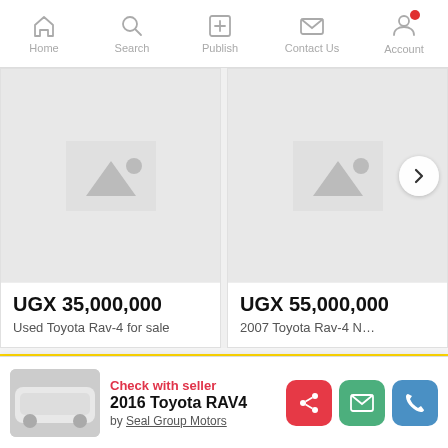Home | Search | Publish | Contact Us | Account
[Figure (screenshot): Car listing card showing placeholder image and price UGX 35,000,000 for Used Toyota Rav-4 for sale]
[Figure (screenshot): Car listing card showing placeholder image with next arrow and price UGX 55,000,000 for 2007 Toyota Rav-4 N...]
Find REAL New and Used Cars for Sale in Uganda
A Car Bond that Lists REAL Cars Online. Get Lower Prices on Japanese, American and European Imported Cars, Trucks, Vans and Auto Spare Parts in Uganda. Free Inspection and
[Figure (photo): White 2016 Toyota RAV4 car thumbnail]
Check with seller
2016 Toyota RAV4
by Seal Group Motors